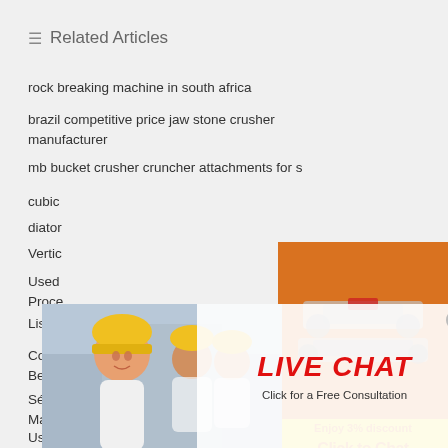≡ Related Articles
rock breaking machine in south africa
brazil competitive price jaw stone crusher manufacturer
mb bucket crusher cruncher attachments for s…
cubic
diator
Vertic
Used … Proce
List Of Stone Crusher Units Ap
Commonly Used Cone Crusher, Jaw Crusher Has Been Widely Use
Séparateur Magnétique De Minerai De Feldsp… Malawi
Used Limestone Jaw Crusher For Hire South Africa
[Figure (photo): Live chat popup with workers in hard hats, LIVE CHAT text in red, Click for a Free Consultation, Chat now and Chat later buttons]
[Figure (photo): Orange sidebar panel with crusher machine images, Enjoy 3% discount, Click to Chat, Enquiry, and mumumugoods@gmail.com]